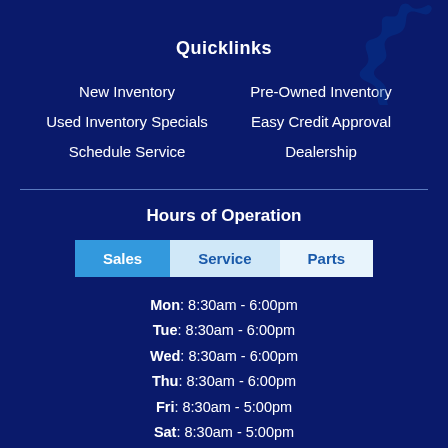Quicklinks
New Inventory
Pre-Owned Inventory
Used Inventory Specials
Easy Credit Approval
Schedule Service
Dealership
Hours of Operation
| Sales | Service | Parts |
| --- | --- | --- |
| Mon: | 8:30am - 6:00pm |
| Tue: | 8:30am - 6:00pm |
| Wed: | 8:30am - 6:00pm |
| Thu: | 8:30am - 6:00pm |
| Fri: | 8:30am - 5:00pm |
| Sat: | 8:30am - 5:00pm |
| Sun: | Closed |